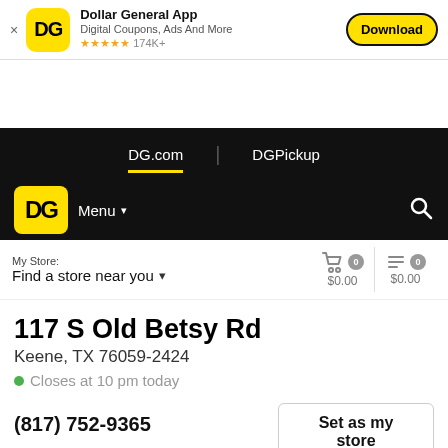[Figure (screenshot): Dollar General app banner with DG yellow icon, app name, rating of 5 stars 174K+, and Download button]
[Figure (screenshot): Dollar General website navigation bar with DG.com (active, underlined) and DGPickup tabs on black background]
[Figure (screenshot): Dollar General website logo bar with yellow DG logo, Menu dropdown, and search icon on black background]
[Figure (screenshot): Store bar with My Store label, Find a store near you dropdown, and cart/list icons with $0.00 totals]
117 S Old Betsy Rd
Keene, TX 76059-2424
● Closes at 10 pm today
(817) 752-9365
Set as my store